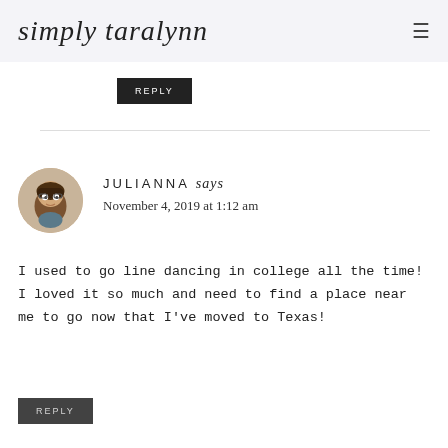simply taralynn
REPLY
JULIANNA says
November 4, 2019 at 1:12 am
I used to go line dancing in college all the time! I loved it so much and need to find a place near me to go now that I've moved to Texas!
REPLY